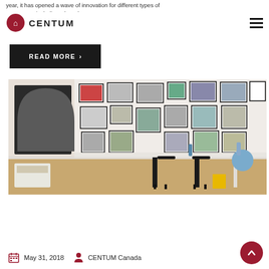CENTUM
year, it has opened a wave of innovation for different types of mortgages, including what's known as a reverse mortgage.
READ MORE >
[Figure (photo): Interior room photo showing a white wall covered with framed artwork and photographs, a long white shelf/counter with bar stools underneath, and various objects on the shelf including bottles and decorative items. A black arched mirror is on the left wall. Guitar and vintage suitcases visible on the floor.]
May 31, 2018   CENTUM Canada